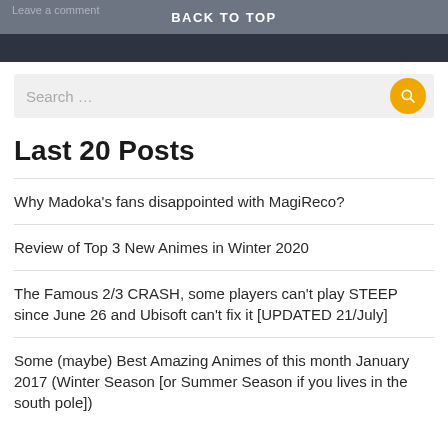Leave a comment
BACK TO TOP
Search …
Last 20 Posts
Why Madoka's fans disappointed with MagiReco?
Review of Top 3 New Animes in Winter 2020
The Famous 2/3 CRASH, some players can't play STEEP since June 26 and Ubisoft can't fix it [UPDATED 21/July]
Some (maybe) Best Amazing Animes of this month January 2017 (Winter Season [or Summer Season if you lives in the south pole])